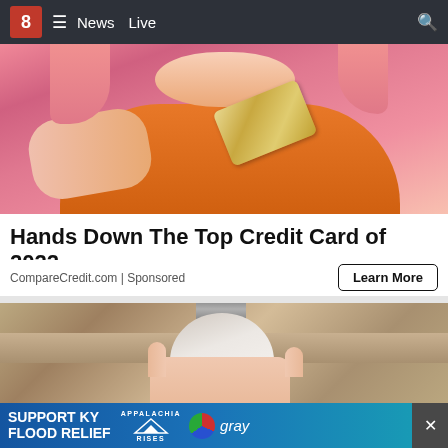8 ≡ News Live 🔍
[Figure (photo): Woman with pink hair holding a gold credit card against a pink background, wearing an orange top]
Hands Down The Top Credit Card of 2022
CompareCredit.com | Sponsored
Learn More
[Figure (photo): Hand holding a white light bulb-shaped device against a wooden shelf background]
[Figure (infographic): SUPPORT KY FLOOD RELIEF banner ad with Appalachia Rises and Gray logo]